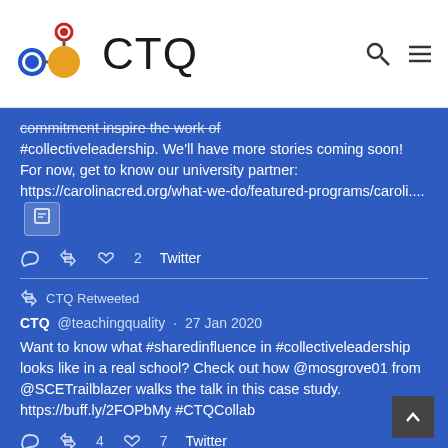[Figure (logo): CTQ logo with interconnected colored circles (blue, red, orange/yellow) and the letters CTQ]
commitment inspire the work of #collectiveleadership. We'll have more stories coming soon! For now, get to know our university partner: https://carolinacred.org/what-we-do/featured-programs/caroli....
2  Twitter
CTQ Retweeted
CTQ @teachingquality · 27 Jan 2020
Want to know what #sharedinfluence in #collectiveleadership looks like in a real school? Check out how @mosgrove01 from @SCETrailblazer walks the talk in this case study. https://buff.ly/2FOPbMy #CTQCollab
4  7  Twitter